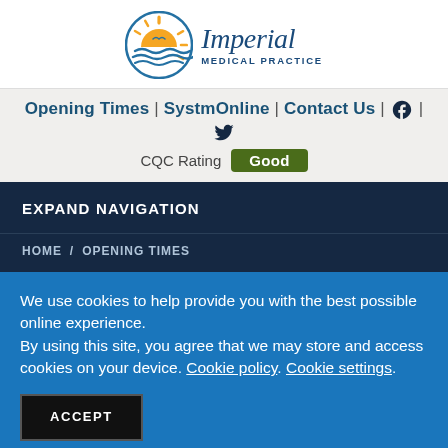[Figure (logo): Imperial Medical Practice logo: circular sun/waves emblem in orange and blue, with 'Imperial' in blue cursive script and 'MEDICAL PRACTICE' in small caps below]
Opening Times | SystmOnline | Contact Us | [Facebook icon] | [Twitter icon]
CQC Rating  Good
EXPAND NAVIGATION
HOME / OPENING TIMES
We use cookies to help provide you with the best possible online experience.
By using this site, you agree that we may store and access cookies on your device. Cookie policy. Cookie settings.
ACCEPT